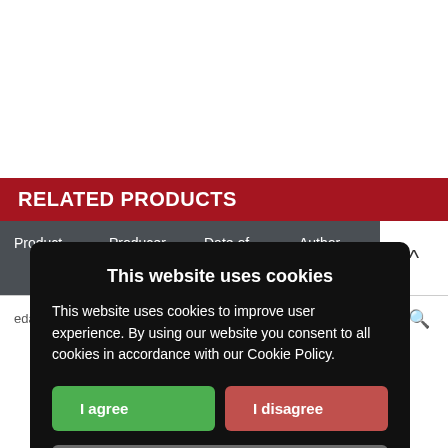RELATED PRODUCTS
| Product | Producer | Date of publication | Author |  |
| --- | --- | --- | --- | --- |
|  |  |  | edazione | +🔍 |
[Figure (screenshot): Cookie consent modal dialog with title 'This website uses cookies', body text explaining cookie usage, 'I agree' green button, 'I disagree' red button, and 'Read more' gray button.]
This website uses cookies
This website uses cookies to improve user experience. By using our website you consent to all cookies in accordance with our Cookie Policy.
I agree
I disagree
Read more